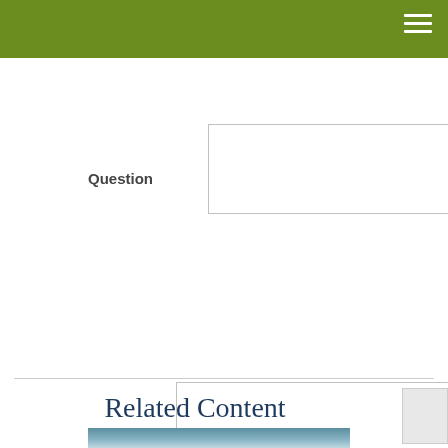[Figure (screenshot): Green navigation header bar with hamburger menu icon (three white horizontal lines) in top right corner]
[Figure (screenshot): Empty text area input field (top, partially visible)]
Question
[Figure (screenshot): Large empty textarea input field for entering a question, with resize handle at bottom right]
[Figure (screenshot): SUBMIT button with gray gradient styling]
Related Content
[Figure (photo): Partial image with teal/blue gradient background, bottom of page]